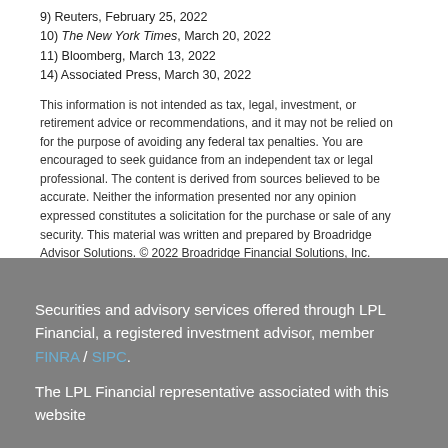9) Reuters, February 25, 2022
10) The New York Times, March 20, 2022
11) Bloomberg, March 13, 2022
14) Associated Press, March 30, 2022
This information is not intended as tax, legal, investment, or retirement advice or recommendations, and it may not be relied on for the purpose of avoiding any federal tax penalties. You are encouraged to seek guidance from an independent tax or legal professional. The content is derived from sources believed to be accurate. Neither the information presented nor any opinion expressed constitutes a solicitation for the purchase or sale of any security. This material was written and prepared by Broadridge Advisor Solutions. © 2022 Broadridge Financial Solutions, Inc.
Securities and advisory services offered through LPL Financial, a registered investment advisor, member FINRA / SIPC.

The LPL Financial representative associated with this website